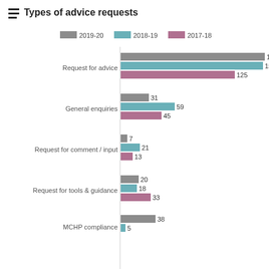[Figure (grouped-bar-chart): Types of advice requests]